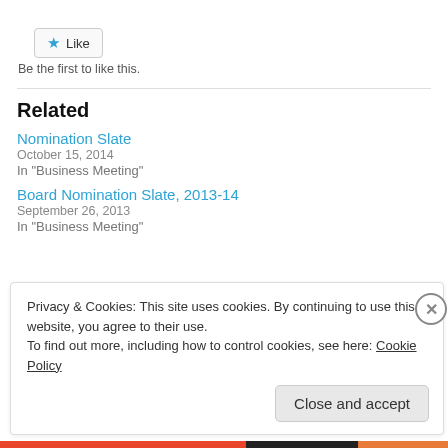[Figure (other): Like button with blue star icon and 'Like' text in a rounded rectangle button]
Be the first to like this.
Related
Nomination Slate
October 15, 2014
In "Business Meeting"
Board Nomination Slate, 2013-14
September 26, 2013
In "Business Meeting"
Privacy & Cookies: This site uses cookies. By continuing to use this website, you agree to their use.
To find out more, including how to control cookies, see here: Cookie Policy
Close and accept